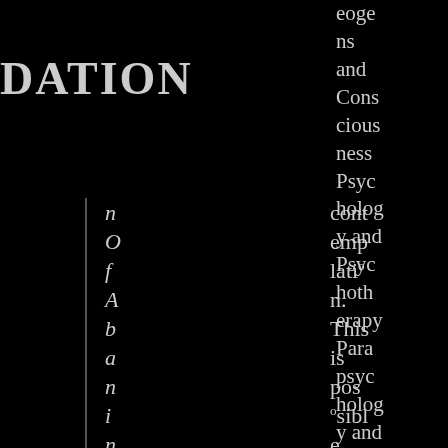DATION
n O f A b a n i n d r a n a t h T
cont emp latio¸ n. This is pos ° sibl e bec aus e thor
eoge ns and Cons cious ness Psyc holog y and Psyc hoth erapy Para psyc holog y and Psyc hical Rese arch